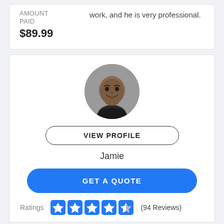AMOUNT PAID
$89.99
work, and he is very professional.
[Figure (photo): Circular profile photo of Jamie, a man smiling, wearing a dark shirt, against a grey background.]
VIEW PROFILE
Jamie
GET A QUOTE
Ratings (94 Reviews)